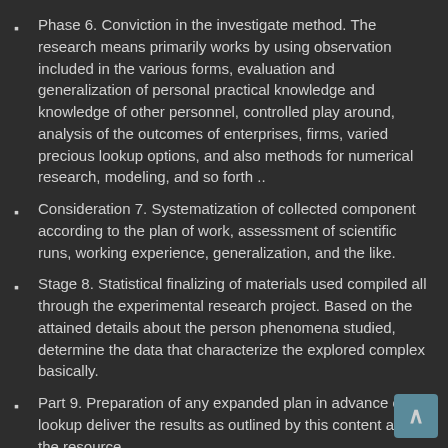Phase 6. Conviction in the investigate method. The research means primarily works by using observation included in the various forms, evaluation and generalization of personal practical knowledge and knowledge of other personnel, controlled play around, analysis of the outcomes of enterprises, firms, varied precious lookup options, and also methods for numerical research, modeling, and so forth ..
Consideration 7. Systematization of collected component according to the plan of work, assessment of scientific runs, working experience, generalization, and the like.
Stage 8. Statistical finalizing of materials used compiled all through the experimental research project. Based on the attained details about the person phenomena studied, determine the data that characterize the explored complex basically.
Part 9. Preparation of any expanded plan in advance of lookup deliver the results as outlined by this content about the resource.
Measure 10. Literature signing up of analyze overall results. All material are systematized and ready for